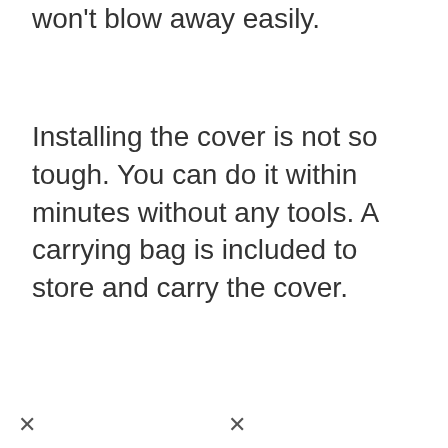won't blow away easily.
Installing the cover is not so tough. You can do it within minutes without any tools. A carrying bag is included to store and carry the cover.